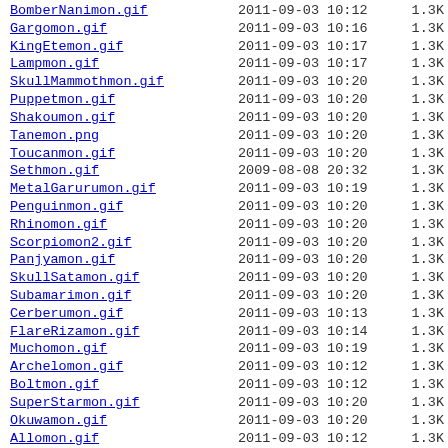| Filename | Date | Time | Size |
| --- | --- | --- | --- |
| BomberNanimon.gif | 2011-09-03 | 10:12 | 1.3K |
| Gargomon.gif | 2011-09-03 | 10:16 | 1.3K |
| KingEtemon.gif | 2011-09-03 | 10:17 | 1.3K |
| Lampmon.gif | 2011-09-03 | 10:17 | 1.3K |
| SkullMammothmon.gif | 2011-09-03 | 10:20 | 1.3K |
| Puppetmon.gif | 2011-09-03 | 10:20 | 1.3K |
| Shakoumon.gif | 2011-09-03 | 10:20 | 1.3K |
| Tanemon.png | 2011-09-03 | 10:20 | 1.3K |
| Toucanmon.gif | 2011-09-03 | 10:20 | 1.3K |
| Sethmon.gif | 2009-08-08 | 20:32 | 1.3K |
| MetalGarurumon.gif | 2011-09-03 | 10:19 | 1.3K |
| Penguinmon.gif | 2011-09-03 | 10:20 | 1.3K |
| Rhinomon.gif | 2011-09-03 | 10:20 | 1.3K |
| Scorpiomon2.gif | 2011-09-03 | 10:20 | 1.3K |
| Panjyamon.gif | 2011-09-03 | 10:20 | 1.3K |
| SkullSatamon.gif | 2011-09-03 | 10:20 | 1.3K |
| Subamarimon.gif | 2011-09-03 | 10:20 | 1.3K |
| Cerberumon.gif | 2011-09-03 | 10:13 | 1.3K |
| FlareRizamon.gif | 2011-09-03 | 10:14 | 1.3K |
| Muchomon.gif | 2011-09-03 | 10:19 | 1.3K |
| Archelomon.gif | 2011-09-03 | 10:12 | 1.3K |
| Boltmon.gif | 2011-09-03 | 10:12 | 1.3K |
| SuperStarmon.gif | 2011-09-03 | 10:20 | 1.3K |
| Okuwamon.gif | 2011-09-03 | 10:20 | 1.3K |
| Allomon.gif | 2011-09-03 | 10:12 | 1.3K |
| ExVeemon.gif | 2009-08-08 | 20:27 | 1.3K |
| Flymon.gif | 2011-09-03 | 10:15 | 1.3K |
| Gryphonemon.gif | 2011-09-03 | 10:16 | 1.4K |
| Manbomon.gif | 2011-09-03 | 10:19 | 1.4K |
| Leomon.gif | 2011-09-03 | 10:18 | 1.4K |